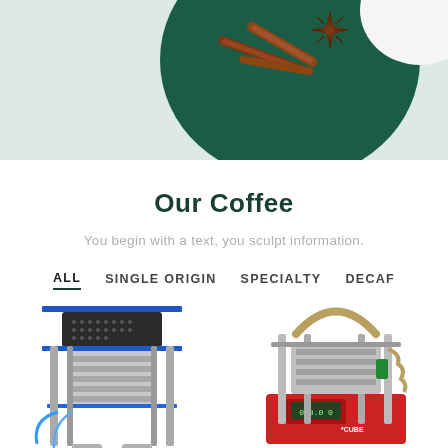[Figure (photo): Top hero image showing cinnamon sticks and star anise on a dark green circular plate against a light mint/grey background]
Our Coffee
You begin with a text, you sculpt information.
ALL
SINGLE ORIGIN
SPECIALTY
DECAF
[Figure (photo): Left product image: industrial coffee machine/roaster with blue frame, metal cylindrical components, and tubing]
[Figure (photo): Right product image: another industrial coffee machine, red base with chrome/metal components and arched handle]